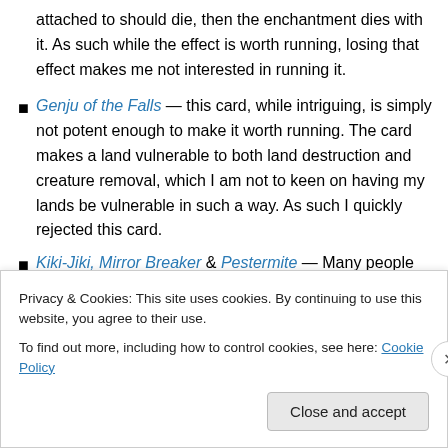attached to should die, then the enchantment dies with it. As such while the effect is worth running, losing that effect makes me not interested in running it.
Genju of the Falls — this card, while intriguing, is simply not potent enough to make it worth running. The card makes a land vulnerable to both land destruction and creature removal, which I am not to keen on having my lands be vulnerable in such a way. As such I quickly rejected this card.
Kiki-Jiki, Mirror Breaker & Pestermite — Many people feel that every EDH deck in existence needs to run at
Privacy & Cookies: This site uses cookies. By continuing to use this website, you agree to their use. To find out more, including how to control cookies, see here: Cookie Policy